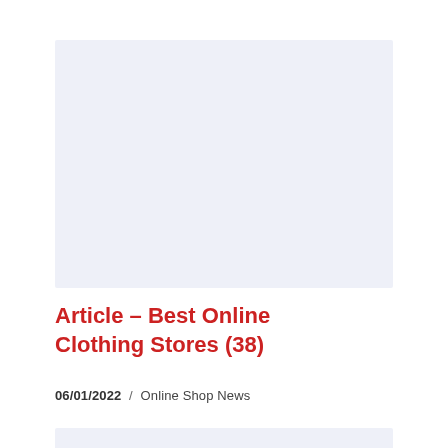[Figure (other): Blank light blue-gray placeholder image area]
Article – Best Online Clothing Stores (38)
06/01/2022  /  Online Shop News